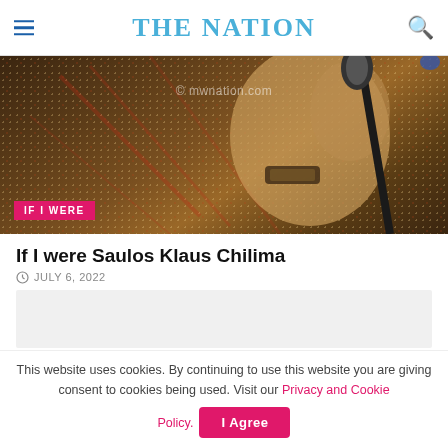THE NATION
[Figure (photo): Person in patterned shirt speaking into a microphone, with watermark 'mwnation.com' and badge 'IF I WERE']
If I were Saulos Klaus Chilima
JULY 6, 2022
[Figure (other): Advertisement placeholder (gray box)]
This website uses cookies. By continuing to use this website you are giving consent to cookies being used. Visit our Privacy and Cookie Policy.
I Agree